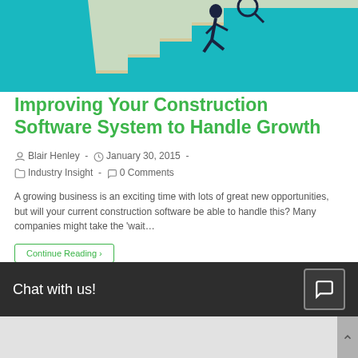[Figure (illustration): Blog post header image with teal/cyan background showing a person climbing stairs with a magnifying glass and business growth theme]
Improving Your Construction Software System to Handle Growth
Blair Henley  -  January 30, 2015  -  Industry Insight  -  0 Comments
A growing business is an exciting time with lots of great new opportunities, but will your current construction software be able to handle this? Many companies might take the 'wait…
Continue Reading >
Chat with us!